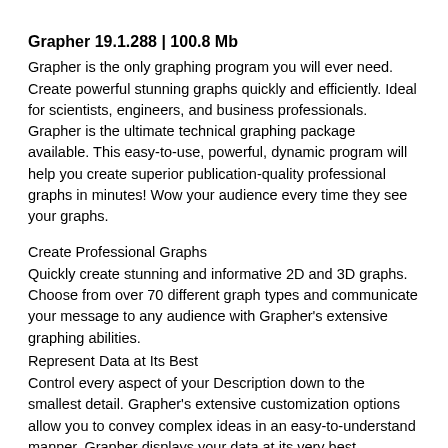Grapher 19.1.288 | 100.8 Mb
Grapher is the only graphing program you will ever need. Create powerful stunning graphs quickly and efficiently. Ideal for scientists, engineers, and business professionals. Grapher is the ultimate technical graphing package available. This easy-to-use, powerful, dynamic program will help you create superior publication-quality professional graphs in minutes! Wow your audience every time they see your graphs.
Create Professional Graphs
Quickly create stunning and informative 2D and 3D graphs. Choose from over 70 different graph types and communicate your message to any audience with Grapher's extensive graphing abilities.
Represent Data at Its Best
Control every aspect of your Description down to the smallest detail. Grapher's extensive customization options allow you to convey complex ideas in an easy-to-understand manner. Grapher displays your data at its very best.
Achieve Deeper Insights
Make informed decisions with Grapher. Discover new opportunities and trends hiding in your data with Grapher's statistical tools. Add custom or pre-defined fit curves, error bars, or compute statistics on the raw data for a thorough understanding of the underlying trend.